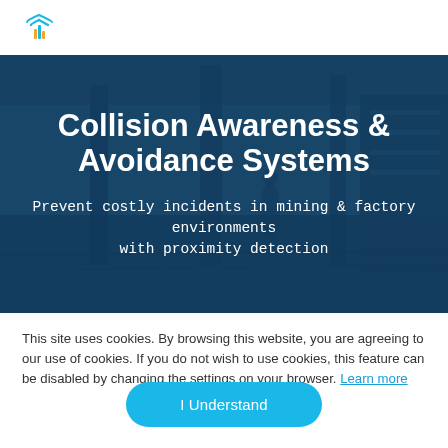Collision Awareness & Avoidance Systems
Prevent costly incidents in mining & factory environments with proximity detection
This site uses cookies. By browsing this website, you are agreeing to our use of cookies. If you do not wish to use cookies, this feature can be disabled by changing the settings on your browser. Learn more
I Understand